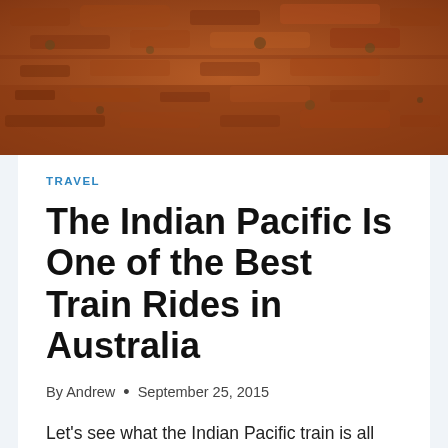[Figure (photo): Aerial or close-up view of Australian red outback desert terrain with reddish-brown earth and sparse dry vegetation]
TRAVEL
The Indian Pacific Is One of the Best Train Rides in Australia
By Andrew • September 25, 2015
Let's see what the Indian Pacific train is all about. Australia – The Land Down Under. It is a wonderful, beautiful and vast continent that's teeming with natural and artificial attractions. Those of you who are thinking about visiting